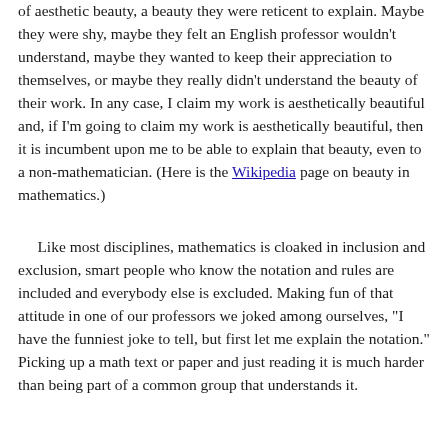of aesthetic beauty, a beauty they were reticent to explain. Maybe they were shy, maybe they felt an English professor wouldn't understand, maybe they wanted to keep their appreciation to themselves, or maybe they really didn't understand the beauty of their work. In any case, I claim my work is aesthetically beautiful and, if I'm going to claim my work is aesthetically beautiful, then it is incumbent upon me to be able to explain that beauty, even to a non-mathematician. (Here is the Wikipedia page on beauty in mathematics.)
Like most disciplines, mathematics is cloaked in inclusion and exclusion, smart people who know the notation and rules are included and everybody else is excluded. Making fun of that attitude in one of our professors we joked among ourselves, "I have the funniest joke to tell, but first let me explain the notation." Picking up a math text or paper and just reading it is much harder than being part of a common group that understands it.